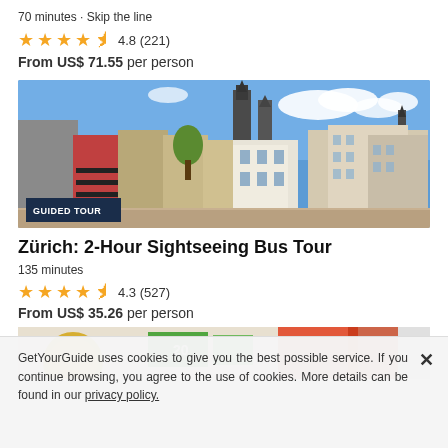70 minutes • Skip the line
★★★★½ 4.8 (221)
From US$ 71.55 per person
[Figure (photo): Photo of Zürich old town waterfront with historic buildings and church towers, labeled GUIDED TOUR]
Zürich: 2-Hour Sightseeing Bus Tour
135 minutes
★★★★½ 4.3 (527)
From US$ 35.26 per person
[Figure (photo): Partial photo of a tour vehicle/street scene]
GetYourGuide uses cookies to give you the best possible service. If you continue browsing, you agree to the use of cookies. More details can be found in our privacy policy.